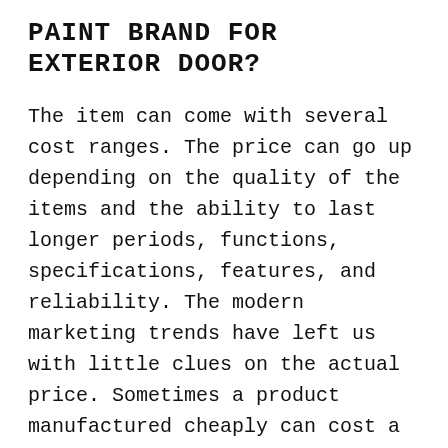PAINT BRAND FOR EXTERIOR DOOR?
The item can come with several cost ranges. The price can go up depending on the quality of the items and the ability to last longer periods, functions, specifications, features, and reliability. The modern marketing trends have left us with little clues on the actual price. Sometimes a product manufactured cheaply can cost a lot more than a quality one. Some manufacturers spend more on marketing than manufacturing creating better reach